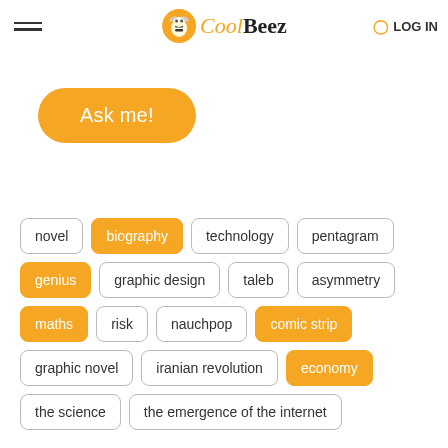CoolBeez
Ask me!
novel
biography
technology
pentagram
genius
graphic design
taleb
asymmetry
maths
risk
nauchpop
comic strip
graphic novel
iranian revolution
economy
the science
the emergence of the internet